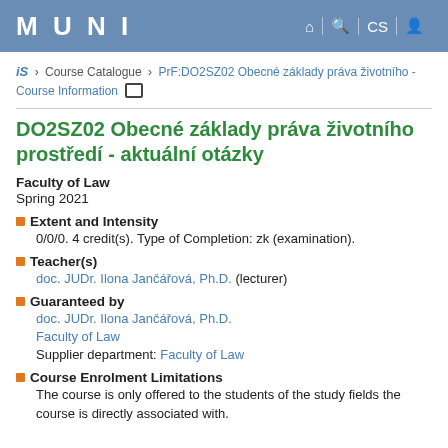MUNI
iS > Course Catalogue > PrF:DO2SZ02 Obecné základy práva životního - Course Information
DO2SZ02 Obecné základy práva životního prostředí - aktuální otázky
Faculty of Law
Spring 2021
Extent and Intensity
0/0/0. 4 credit(s). Type of Completion: zk (examination).
Teacher(s)
doc. JUDr. Ilona Jančářová, Ph.D. (lecturer)
Guaranteed by
doc. JUDr. Ilona Jančářová, Ph.D.
Faculty of Law
Supplier department: Faculty of Law
Course Enrolment Limitations
The course is only offered to the students of the study fields the course is directly associated with.